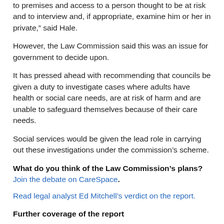to premises and access to a person thought to be at risk and to interview and, if appropriate, examine him or her in private," said Hale.
However, the Law Commission said this was an issue for government to decide upon.
It has pressed ahead with recommending that councils be given a duty to investigate cases where adults have health or social care needs, are at risk of harm and are unable to safeguard themselves because of their care needs.
Social services would be given the lead role in carrying out these investigations under the commission's scheme.
What do you think of the Law Commission’s plans? Join the debate on CareSpace.
Read legal analyst Ed Mitchell's verdict on the report.
Further coverage of the report